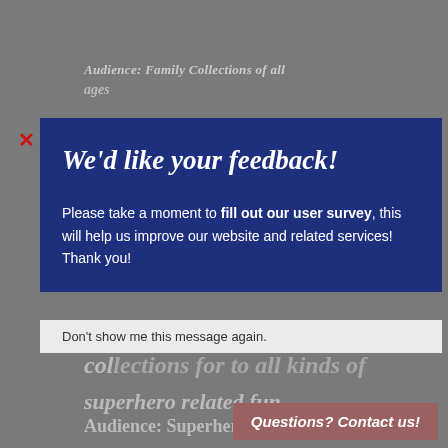[Figure (logo): Belmont Public Library logo with horizontal stripes icon and text]
Audience: Family Collections of all ages
We'd like your feedback!
Please take a moment to fill out our user survey, this will help us improve our website and related services! Thank you!
Don't show me this message again.
collections for to all kinds of superhero related fun.
Audience: Superhero Fans of All Ages
Questions? Contact us!